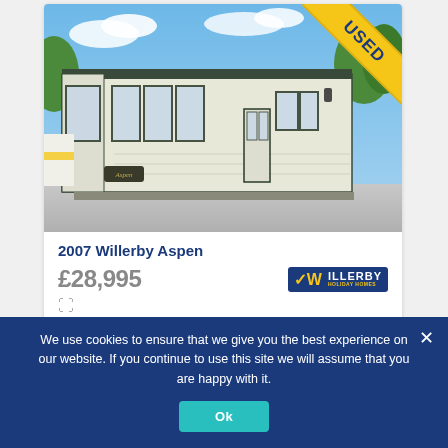[Figure (photo): Exterior photo of a 2007 Willerby Aspen static mobile home, cream coloured with dark window frames, parked on a concrete surface outdoors. A yellow diagonal 'USED' ribbon badge is in the top-right corner of the image.]
2007 Willerby Aspen
£28,995
[Figure (logo): Willerby logo: white text 'WILLERBY' on dark blue background with yellow/gold checkmark W icon]
We use cookies to ensure that we give you the best experience on our website. If you continue to use this site we will assume that you are happy with it.